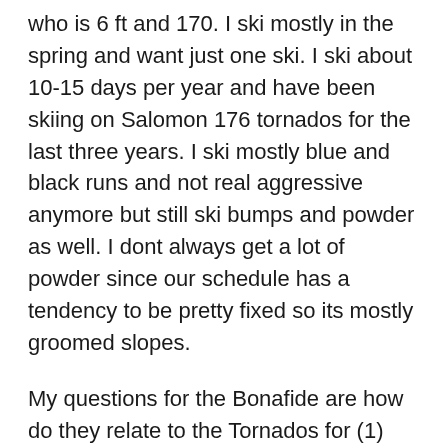who is 6 ft and 170. I ski mostly in the spring and want just one ski. I ski about 10-15 days per year and have been skiing on Salomon 176 tornados for the last three years. I ski mostly blue and black runs and not real aggressive anymore but still ski bumps and powder as well. I dont always get a lot of powder since our schedule has a tendency to be pretty fixed so its mostly groomed slopes.
My questions for the Bonafide are how do they relate to the Tornados for (1) stability; (2) bumps; (3) ease of turns (4) speed and (5) overall ease of skiing. How long is the transition to the fatter ski in you opinion? I have read a lot of reviews on the skis but would like your help on these specific areas if possible. Also, it is my